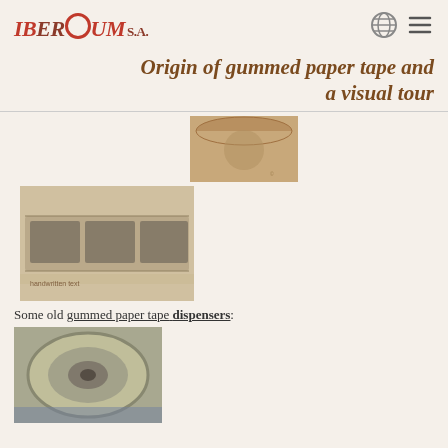IBERUM S.A. — navigation header with logo and icons
Origin of gummed paper tape and a visual tour
[Figure (photo): Partial photo of a gummed paper tape roll, top view, brown cardboard color]
[Figure (photo): Old gummed paper tape strip with stamps/prints visible, laid flat on a light surface]
Some old gummed paper tape dispensers:
[Figure (photo): Old gummed paper tape dispenser, metallic, round roll visible from the side]